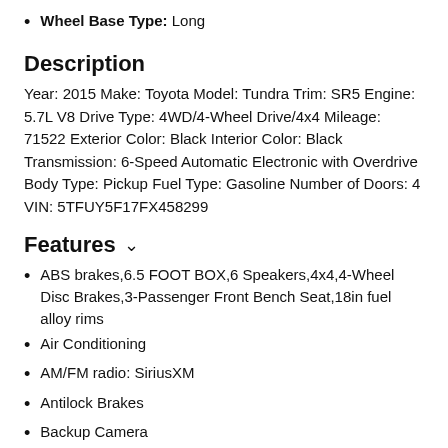Wheel Base Type: Long
Description
Year: 2015 Make: Toyota Model: Tundra Trim: SR5 Engine: 5.7L V8 Drive Type: 4WD/4-Wheel Drive/4x4 Mileage: 71522 Exterior Color: Black Interior Color: Black Transmission: 6-Speed Automatic Electronic with Overdrive Body Type: Pickup Fuel Type: Gasoline Number of Doors: 4 VIN: 5TFUY5F17FX458299
Features
ABS brakes,6.5 FOOT BOX,6 Speakers,4x4,4-Wheel Disc Brakes,3-Passenger Front Bench Seat,18in fuel alloy rims
Air Conditioning
AM/FM radio: SiriusXM
Antilock Brakes
Backup Camera